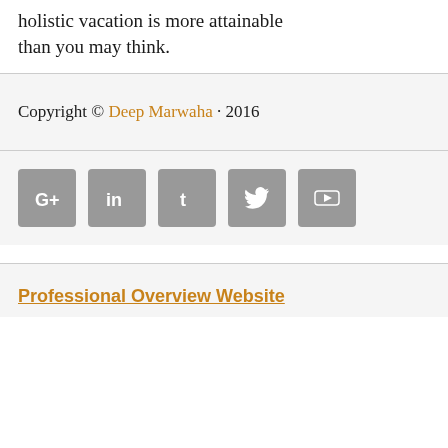holistic vacation is more attainable than you may think.
Copyright © Deep Marwaha · 2016
[Figure (infographic): Row of 5 social media icons (Google+, LinkedIn, Tumblr, Twitter, YouTube) as grey rounded square buttons]
Professional Overview Website